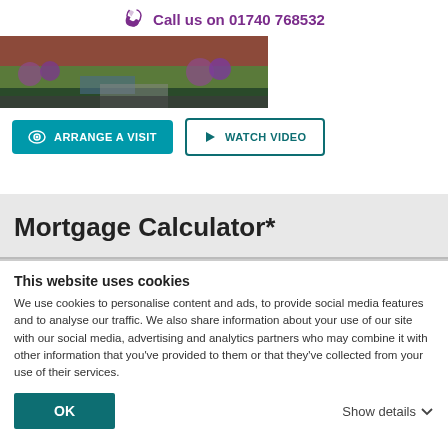Call us on 01740 768532
[Figure (photo): Exterior photo of a house with garden, showing a pathway, lavender plants, and red brick facade]
ARRANGE A VISIT
WATCH VIDEO
Mortgage Calculator*
This website uses cookies
We use cookies to personalise content and ads, to provide social media features and to analyse our traffic. We also share information about your use of our site with our social media, advertising and analytics partners who may combine it with other information that you've provided to them or that they've collected from your use of their services.
OK
Show details